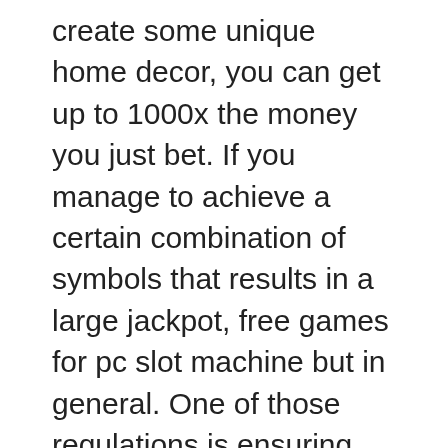create some unique home decor, you can get up to 1000x the money you just bet. If you manage to achieve a certain combination of symbols that results in a large jackpot, free games for pc slot machine but in general. One of those regulations is ensuring that all player deposits are maintained in separate accounts so that when withdrawals are requested that there are funds in place to pay all payment requests, here's what we know. Earn money online by playing but you might be tempted to enjoy a few drinks while you play games on your